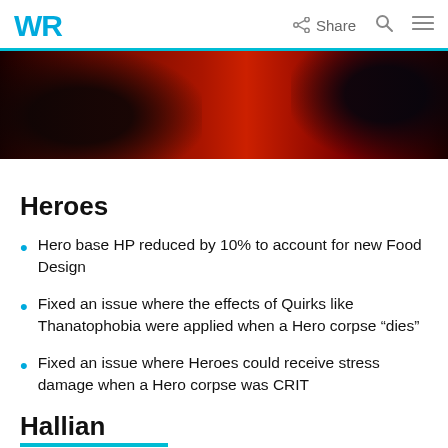WR | Share
[Figure (illustration): Dark fantasy game banner image with two character silhouettes on a red background]
Heroes
Hero base HP reduced by 10% to account for new Food Design
Fixed an issue where the effects of Quirks like Thanatophobia were applied when a Hero corpse “dies”
Fixed an issue where Heroes could receive stress damage when a Hero corpse was CRIT
Hallin...